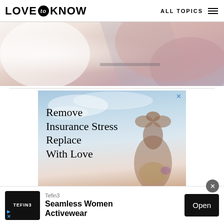LOVE to KNOW   ALL TOPICS
[Figure (photo): Partial view of a person in a bathroom or bedroom setting, soft pink and white tones, close-up abstract composition]
[Figure (infographic): Insurance advertisement with sky background and woman in yoga pose. Text reads: Remove Insurance Stress Replace With Love. Blue X close button in top right.]
[Figure (infographic): Bottom banner advertisement for Tefin3 Seamless Women Activewear with black logo box showing TEFIN3, play and X icons, and Open button]